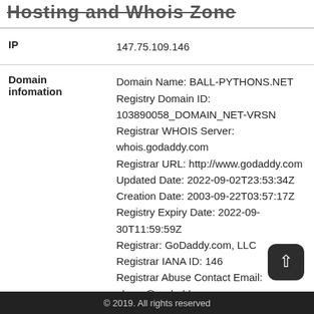Hosting and Whois Zone
| Field | Value |
| --- | --- |
| IP | 147.75.109.146 |
| Domain infomation | Domain Name: BALL-PYTHONS.NET
Registry Domain ID: 103890058_DOMAIN_NET-VRSN
Registrar WHOIS Server: whois.godaddy.com
Registrar URL: http://www.godaddy.com
Updated Date: 2022-09-02T23:53:34Z
Creation Date: 2003-09-22T03:57:17Z
Registry Expiry Date: 2022-09-30T11:59:59Z
Registrar: GoDaddy.com, LLC
Registrar IANA ID: 146
Registrar Abuse Contact Email: abuse@godaddy.com
Registrar Abuse Contact Phone: 480-624-2505
Domain Status: clientDeleteProhibited
https://icann.org/epp#clientDeleteProhibited |
© 2019. All rights reserved